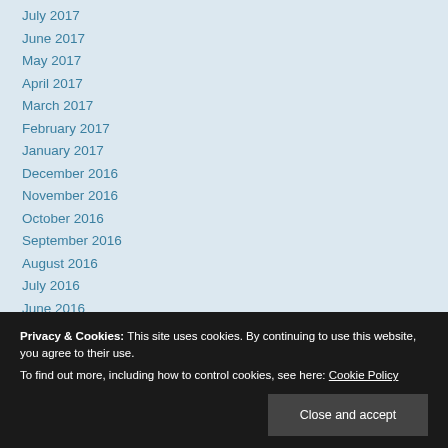July 2017
June 2017
May 2017
April 2017
March 2017
February 2017
January 2017
December 2016
November 2016
October 2016
September 2016
August 2016
July 2016
June 2016
December 2015
Privacy & Cookies: This site uses cookies. By continuing to use this website, you agree to their use.
To find out more, including how to control cookies, see here: Cookie Policy